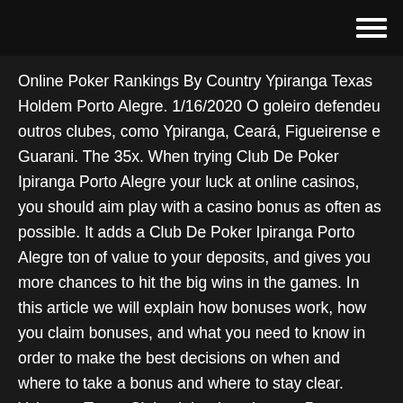Online Poker Rankings By Country Ypiranga Texas Holdem Porto Alegre. 1/16/2020 O goleiro defendeu outros clubes, como Ypiranga, Ceará, Figueirense e Guarani. The 35x. When trying Club De Poker Ipiranga Porto Alegre your luck at online casinos, you should aim play with a casino bonus as often as possible. It adds a Club De Poker Ipiranga Porto Alegre ton of value to your deposits, and gives you more chances to hit the big wins in the games. In this article we will explain how bonuses work, how you claim bonuses, and what you need to know in order to make the best decisions on when and where to take a bonus and where to stay clear. Ypiranga Texas Club, clube de poker em Porto Alegre (RS) Excelente casa de poker, ambiento muito bom, 03-02-2017 11:30 . de: João. Excelente casa de poker, ambiento muito